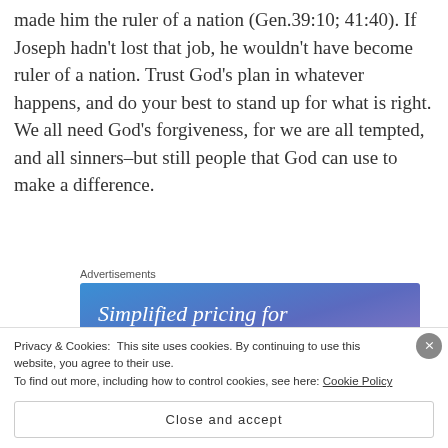made him the ruler of a nation (Gen.39:10; 41:40). If Joseph hadn't lost that job, he wouldn't have become ruler of a nation. Trust God's plan in whatever happens, and do your best to stand up for what is right. We all need God's forgiveness, for we are all tempted, and all sinners–but still people that God can use to make a difference.
Advertisements
[Figure (other): Advertisement banner with gradient blue-purple background and white text reading 'Simplified pricing for everything you need.']
Privacy & Cookies: This site uses cookies. By continuing to use this website, you agree to their use. To find out more, including how to control cookies, see here: Cookie Policy
Close and accept